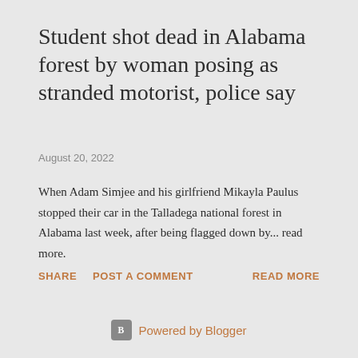Student shot dead in Alabama forest by woman posing as stranded motorist, police say
August 20, 2022
When Adam Simjee and his girlfriend Mikayla Paulus stopped their car in the Talladega national forest in Alabama last week, after being flagged down by... read more.
SHARE   POST A COMMENT   READ MORE
Powered by Blogger